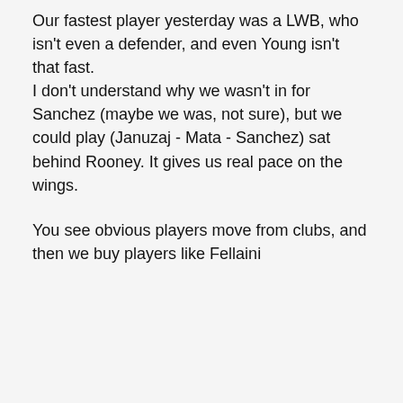Our fastest player yesterday was a LWB, who isn't even a defender, and even Young isn't that fast. I don't understand why we wasn't in for Sanchez (maybe we was, not sure), but we could play (Januzaj - Mata - Sanchez) sat behind Rooney. It gives us real pace on the wings.
You see obvious players move from clubs, and then we buy players like Fellaini